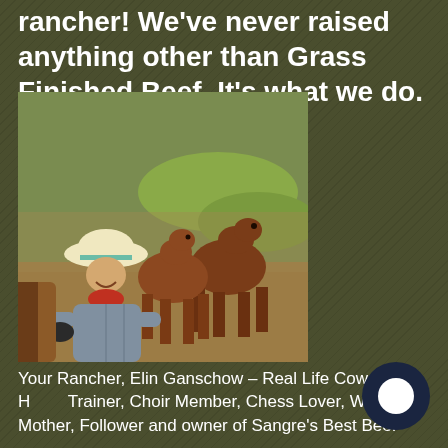rancher! We've never raised anything other than Grass Finished Beef. It's what we do.
[Figure (photo): A woman in a white cowboy hat and plaid shirt kneeling and smiling next to two young brown calves on a grassy hillside.]
Your Rancher, Elin Ganschow – Real Life Cowgirl, Horse Trainer, Choir Member, Chess Lover, Wife, Mother, Follower and owner of Sangre's Best Beef